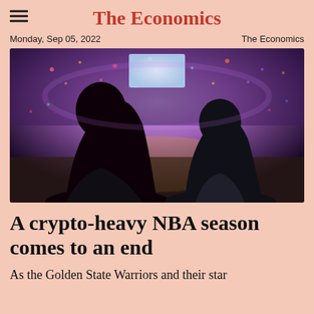The Economics
Monday, Sep 05, 2022   The Economics
[Figure (photo): Two spectators viewed from behind watching an NBA basketball game in a packed, brightly lit arena with colorful crowd and scoreboard in background.]
A crypto-heavy NBA season comes to an end
As the Golden State Warriors and their star